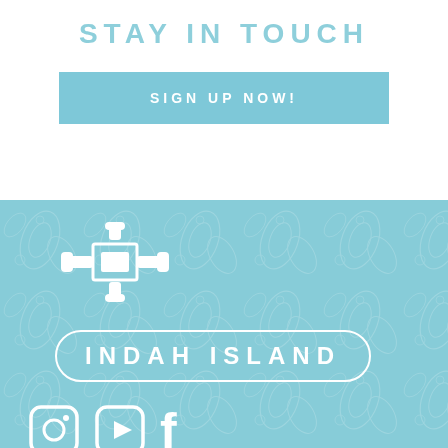STAY IN TOUCH
SIGN UP NOW!
[Figure (logo): Indah Island brand logo with decorative cross/anchor icon and brand name in rounded rectangle border on light blue background]
[Figure (infographic): Social media icons: Instagram, YouTube, Facebook]